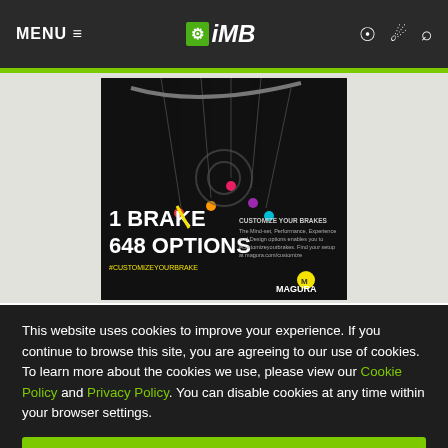MENU ≡  iMB
[Figure (advertisement): Magura brake advertisement showing '1 BRAKE 648 OPTIONS #CUSTOMIZEYOURBRAKE' with colorful brake component detail lines on dark background]
This website uses cookies to improve your experience. If you continue to browse this site, you are agreeing to our use of cookies. To learn more about the cookies we use, please view our Cookie Policy and Privacy Policy. You can disable cookies at any time within your browser settings.